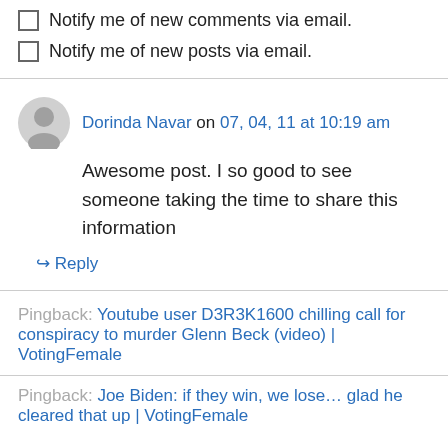Notify me of new comments via email.
Notify me of new posts via email.
Dorinda Navar on 07, 04, 11 at 10:19 am
Awesome post. I so good to see someone taking the time to share this information
Reply
Pingback: Youtube user D3R3K1600 chilling call for conspiracy to murder Glenn Beck (video) | VotingFemale
Pingback: Joe Biden: if they win, we lose… glad he cleared that up | VotingFemale